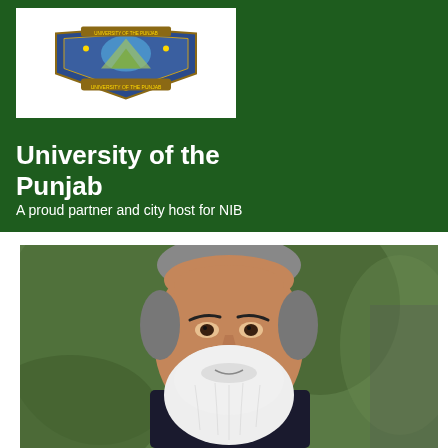[Figure (logo): University of the Punjab crest/shield logo on white background]
University of the Punjab
A proud partner and city host for NIB
[Figure (photo): Portrait photograph of an elderly man with white beard and grey hair, wearing a suit]